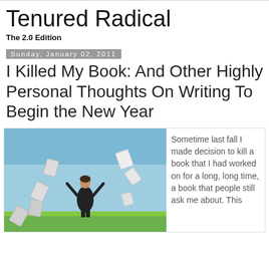Tenured Radical
The 2.0 Edition
Sunday, January 02, 2011
I Killed My Book: And Other Highly Personal Thoughts On Writing To Begin the New Year
[Figure (photo): Person standing on grass with arms raised, papers flying in the air against a blue sky]
Sometime last fall I made decision to kill a book that I had worked on for a long, long time, a book that people still ask me about.  This